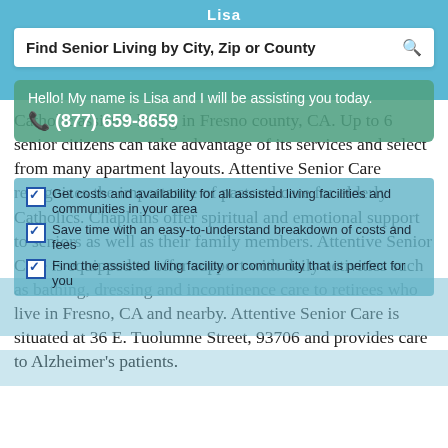Lisa
Find Senior Living by City, Zip or County
Hello! My name is Lisa and I will be assisting you today.  ☎ (877) 659-8659
Catholic assisted living in Fresno county, CA. Up to 6 senior citizens can take advantage of its services and select from many apartment layouts. Attentive Senior Care recognizes the importance of pastoral care for elderly Catholics. Chaplains offer spiritual and emotional support to seniors as well as their family members. Attentive Senior Care is equipped to offer support with daily activities such as bathing, dressing and incontinence care to retirees who live in Fresno, CA and nearby. Attentive Senior Care is situated at 36 E. Tuolumne Street, 93706 and provides care to Alzheimer's patients.
Get costs and availability for all assisted living facilities and communities in your area
Save time with an easy-to-understand breakdown of costs and fees
Find the assisted living facility or community that is perfect for you